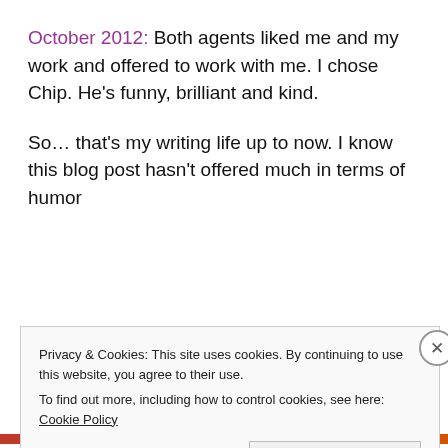October 2012: Both agents liked me and my work and offered to work with me. I chose Chip. He's funny, brilliant and kind.
So… that's my writing life up to now. I know this blog post hasn't offered much in terms of humor
Privacy & Cookies: This site uses cookies. By continuing to use this website, you agree to their use.
To find out more, including how to control cookies, see here: Cookie Policy